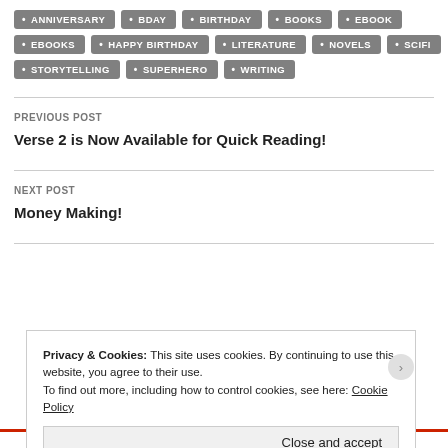ANNIVERSARY
BDAY
BIRTHDAY
BOOKS
EBOOK
EBOOKS
HAPPY BIRTHDAY
LITERATURE
NOVELS
SCIFI
STORYTELLING
SUPERHERO
WRITING
PREVIOUS POST
Verse 2 is Now Available for Quick Reading!
NEXT POST
Money Making!
Privacy & Cookies: This site uses cookies. By continuing to use this website, you agree to their use.
To find out more, including how to control cookies, see here: Cookie Policy
Close and accept